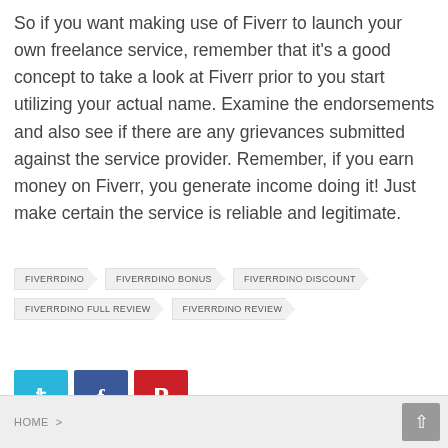So if you want making use of Fiverr to launch your own freelance service, remember that it's a good concept to take a look at Fiverr prior to you start utilizing your actual name. Examine the endorsements and also see if there are any grievances submitted against the service provider. Remember, if you earn money on Fiverr, you generate income doing it! Just make certain the service is reliable and legitimate.
FIVERRDINO
FIVERRDINO BONUS
FIVERRDINO DISCOUNT
FIVERRDINO FULL REVIEW
FIVERRDINO REVIEW
[Figure (infographic): Social share buttons: Twitter (blue), Facebook (dark blue), Pinterest (red)]
HOME >